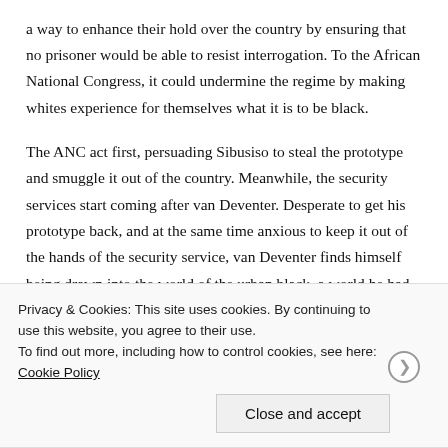a way to enhance their hold over the country by ensuring that no prisoner would be able to resist interrogation. To the African National Congress, it could undermine the regime by making whites experience for themselves what it is to be black.
The ANC act first, persuading Sibusiso to steal the prototype and smuggle it out of the country. Meanwhile, the security services start coming after van Deventer. Desperate to get his prototype back, and at the same time anxious to keep it out of the hands of the security service, van Deventer finds himself being drawn into the world of the urban black, a world he had never really known existed, a
Privacy & Cookies: This site uses cookies. By continuing to use this website, you agree to their use.
To find out more, including how to control cookies, see here: Cookie Policy
Close and accept